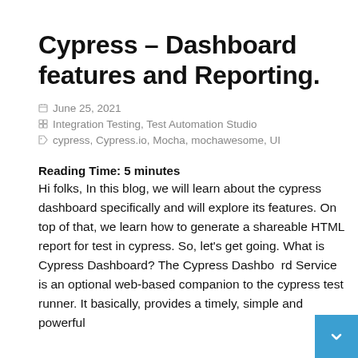Cypress – Dashboard features and Reporting.
June 25, 2021
Integration Testing, Test Automation Studio
cypress, Cypress.io, Mocha, mochawesome, UI
Reading Time: 5 minutes
Hi folks, In this blog, we will learn about the cypress dashboard specifically and will explore its features. On top of that, we learn how to generate a shareable HTML report for test in cypress. So, let's get going. What is Cypress Dashboard? The Cypress Dashboard Service is an optional web-based companion to the cypress test runner. It basically, provides a timely, simple and powerful